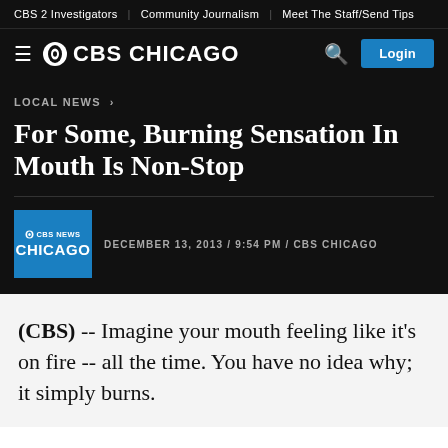CBS 2 Investigators | Community Journalism | Meet The Staff/Send Tips
CBS CHICAGO
LOCAL NEWS >
For Some, Burning Sensation In Mouth Is Non-Stop
DECEMBER 13, 2013 / 9:54 PM / CBS CHICAGO
(CBS) -- Imagine your mouth feeling like it's on fire -- all the time. You have no idea why; it simply burns.